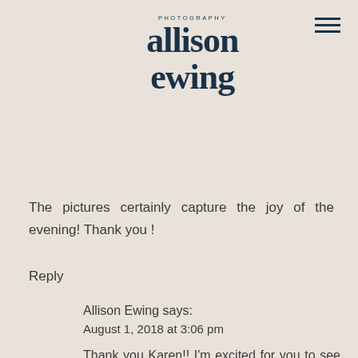[Figure (logo): Allison Ewing Photography logo with stylized serif text]
The pictures certainly capture the joy of the evening! Thank you !
Reply
Allison Ewing says:
August 1, 2018 at 3:06 pm
Thank you Karen!! I'm excited for you to see all of them!!
Reply